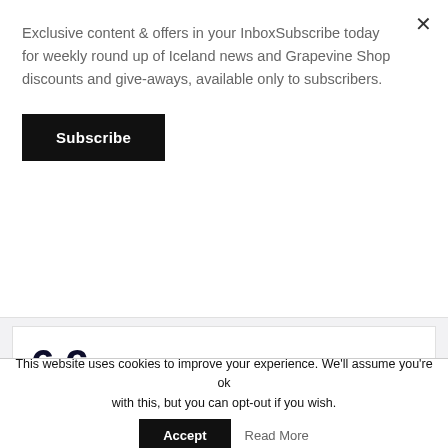Exclusive content & offers in your InboxSubscribe today for weekly round up of Iceland news and Grapevine Shop discounts and give-aways, available only to subscribers.
Subscribe
6 € / month
billed monthly
1 give away membership
Help our work!
Ad-free browsing
Get new Reykjavík Grapevine sent in email
This website uses cookies to improve your experience. We'll assume you're ok with this, but you can opt-out if you wish.
Accept
Read More